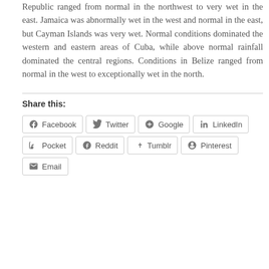Republic ranged from normal in the northwest to very wet in the east. Jamaica was abnormally wet in the west and normal in the east, but Cayman Islands was very wet. Normal conditions dominated the western and eastern areas of Cuba, while above normal rainfall dominated the central regions. Conditions in Belize ranged from normal in the west to exceptionally wet in the north.
Share this: